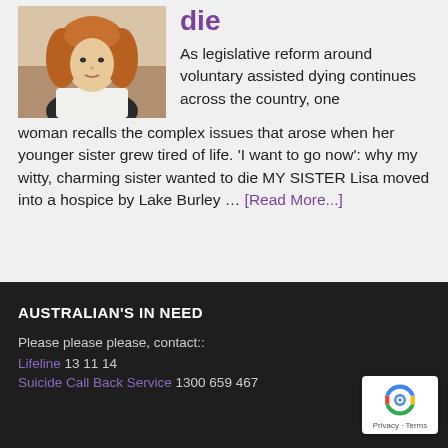[Figure (photo): Photo of a woman with curly reddish-brown hair against a light background]
die
As legislative reform around voluntary assisted dying continues across the country, one woman recalls the complex issues that arose when her younger sister grew tired of life. 'I want to go now': why my witty, charming sister wanted to die MY SISTER Lisa moved into a hospice by Lake Burley ... [Read More...]
AUSTRALIAN'S IN NEED
Please please please, contact::
Lifeline 13 11 14
Suicide Call Back Service 1300 659 467